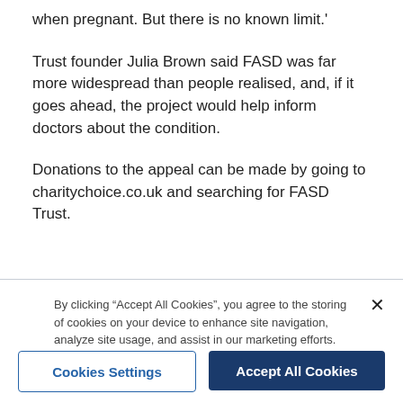when pregnant. But there is no known limit.'
Trust founder Julia Brown said FASD was far more widespread than people realised, and, if it goes ahead, the project would help inform doctors about the condition.
Donations to the appeal can be made by going to charitychoice.co.uk and searching for FASD Trust.
By clicking “Accept All Cookies”, you agree to the storing of cookies on your device to enhance site navigation, analyze site usage, and assist in our marketing efforts.
Cookies Settings
Accept All Cookies